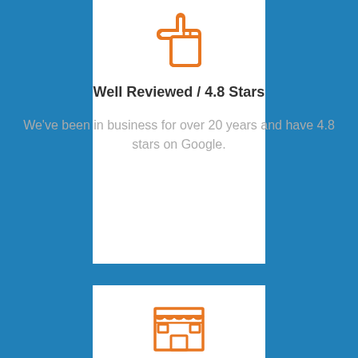[Figure (illustration): Orange thumbs-up icon at the top of a white card panel]
Well Reviewed / 4.8 Stars
We've been in business for over 20 years and have 4.8 stars on Google.
[Figure (illustration): Orange storefront / shop icon at the top of a second white card panel]